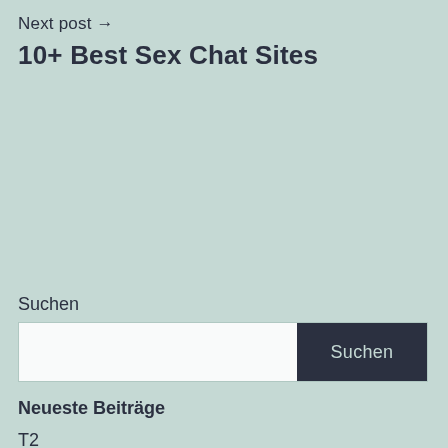Next post →
10+ Best Sex Chat Sites
Suchen
[Figure (other): Search bar with a white text input field on the left and a dark navy 'Suchen' button on the right]
Neueste Beiträge
T2